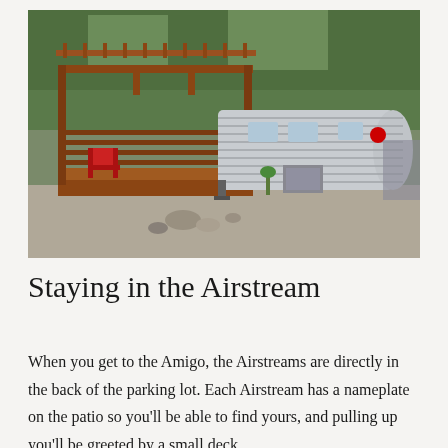[Figure (photo): Photograph of a silver Airstream trailer with a wooden pergola/deck structure attached to its side. The deck has red chairs visible. Surrounded by gravel, rocks, and trees in the background.]
Staying in the Airstream
When you get to the Amigo, the Airstreams are directly in the back of the parking lot. Each Airstream has a nameplate on the patio so you'll be able to find yours, and pulling up you'll be greeted by a small deck